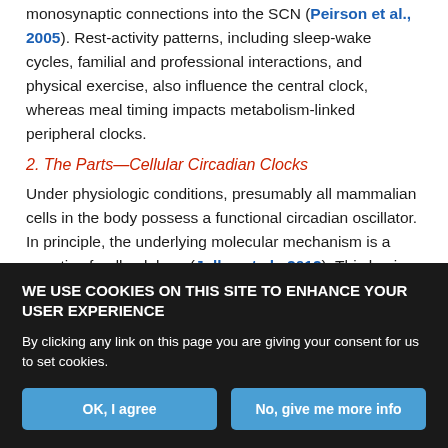monosynaptic connections into the SCN (Peirson et al., 2005). Rest-activity patterns, including sleep-wake cycles, familial and professional interactions, and physical exercise, also influence the central clock, whereas meal timing impacts metabolism-linked peripheral clocks.
2. The Parts—Cellular Circadian Clocks
Under physiologic conditions, presumably all mammalian cells in the body possess a functional circadian oscillator. In principle, the underlying molecular mechanism is a negative feedback loop (Jolley et al., 2012). This basic mechanism was first described in fruit flies
WE USE COOKIES ON THIS SITE TO ENHANCE YOUR USER EXPERIENCE
By clicking any link on this page you are giving your consent for us to set cookies.